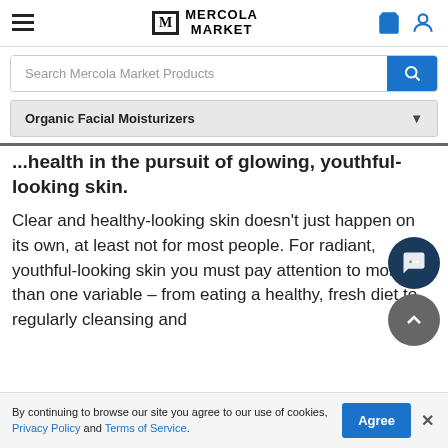Mercola Market
Search Mercola Market Products
Organic Facial Moisturizers
...health in the pursuit of glowing, youthful-looking skin.
Clear and healthy-looking skin doesn't just happen on its own, at least not for most people. For radiant, youthful-looking skin you must pay attention to more than one variable – from eating a healthy, fresh diet to regularly cleansing and
By continuing to browse our site you agree to our use of cookies, Privacy Policy and Terms of Service.